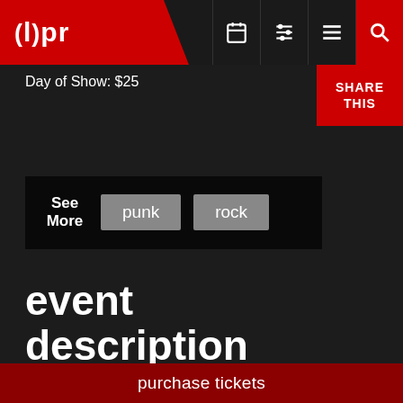(l)pr
Day of Show: $25
SHARE THIS
See More  punk  rock
event description
On Tuesday, May 2nd, 7 p.m., Three Rooms Press presents a one night only event: PUNK ALL-STARS, the NYC book launch for “PUNK AVENUE: Inside the New York City Underground 1972–1982”
purchase tickets